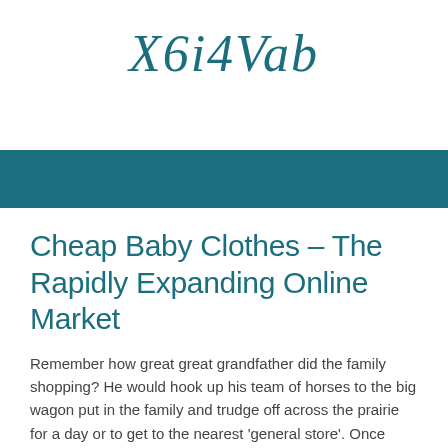X6i4Vab
[Figure (other): Teal decorative horizontal banner bar]
Cheap Baby Clothes – The Rapidly Expanding Online Market
Remember how great great grandfather did the family shopping? He would hook up his team of horses to the big wagon put in the family and trudge off across the prairie for a day or to get to the nearest 'general store'. Once there it was a